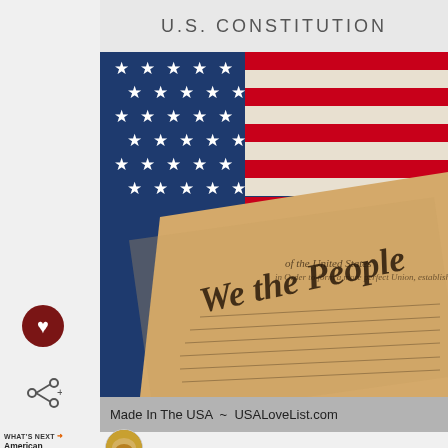U.S. CONSTITUTION
[Figure (photo): Photo of the U.S. Constitution document 'We the People' preamble overlaid on an American flag with stars and stripes]
Made In The USA ~ USALoveList.com
WHAT'S NEXT → American Made Items...
ADVERTISEMENT
From Hello to Help, 211 is Here
Food • Housing • Utilities Assistance • Mental Health